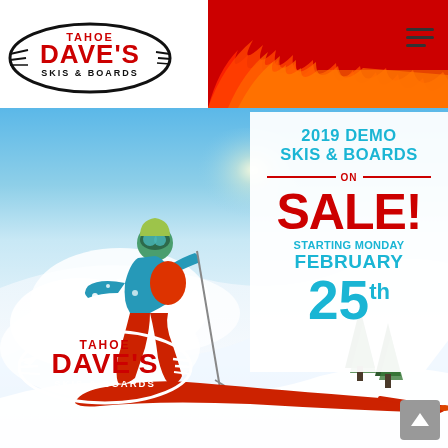[Figure (logo): Tahoe Dave's Skis & Boards logo top left]
[Figure (illustration): Red flame graphic on red background top right]
[Figure (photo): Skier in blue jacket carving through deep powder snow on a sunny mountain slope]
2019 DEMO SKIS & BOARDS ON SALE! STARTING MONDAY FEBRUARY 25th
[Figure (logo): Tahoe Dave's Skis & Boards logo bottom left overlay on photo]